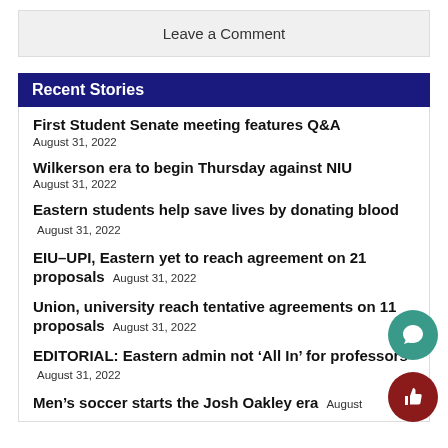Leave a Comment
Recent Stories
First Student Senate meeting features Q&A August 31, 2022
Wilkerson era to begin Thursday against NIU August 31, 2022
Eastern students help save lives by donating blood August 31, 2022
EIU–UPI, Eastern yet to reach agreement on 21 proposals August 31, 2022
Union, university reach tentative agreements on 11 proposals August 31, 2022
EDITORIAL: Eastern admin not ‘All In’ for professors August 31, 2022
Men’s soccer starts the Josh Oakley era August 31, 2022